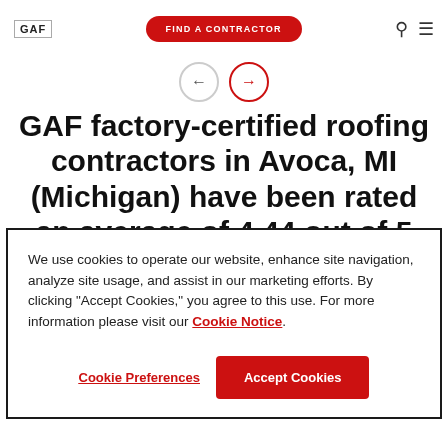GAF | FIND A CONTRACTOR
GAF factory-certified roofing contractors in Avoca, MI (Michigan) have been rated an average of 4.44 out of 5
We use cookies to operate our website, enhance site navigation, analyze site usage, and assist in our marketing efforts. By clicking "Accept Cookies," you agree to this use. For more information please visit our Cookie Notice.
Cookie Preferences | Accept Cookies